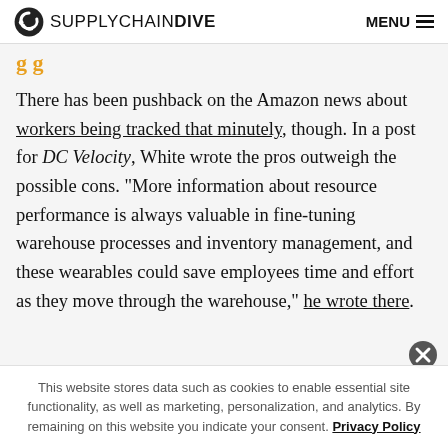SUPPLYCHAINDIVE  MENU
g g
There has been pushback on the Amazon news about workers being tracked that minutely, though. In a post for DC Velocity, White wrote the pros outweigh the possible cons. “More information about resource performance is always valuable in fine-tuning warehouse processes and inventory management, and these wearables could save employees time and effort as they move through the warehouse,” he wrote there.
This website stores data such as cookies to enable essential site functionality, as well as marketing, personalization, and analytics. By remaining on this website you indicate your consent. Privacy Policy